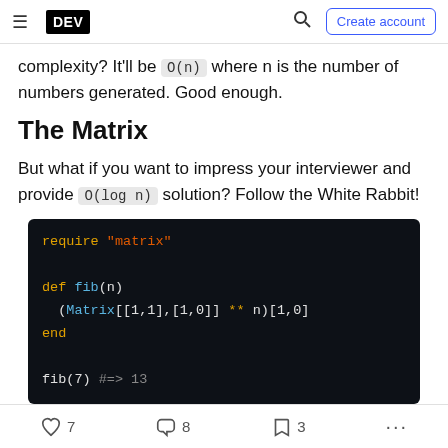DEV — Create account
complexity? It'll be O(n) where n is the number of numbers generated. Good enough.
The Matrix
But what if you want to impress your interviewer and provide O(log n) solution? Follow the White Rabbit!
[Figure (screenshot): Code block showing Ruby code: require "matrix", def fib(n), (Matrix[[1,1],[1,0]] ** n)[1,0], end, fib(7) #=> 13]
7 likes, 8 comments, 3 bookmarks